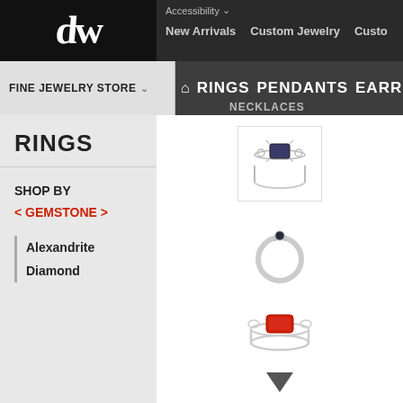[Figure (logo): DW jewelry store logo - stylized 'dw' letters in white on black background]
Accessibility | New Arrivals | Custom Jewelry | Custo...
FINE JEWELRY STORE | RINGS | PENDANTS | EARRINGS | NECKLACES
RINGS
SHOP BY < GEMSTONE >
Alexandrite
Diamond
[Figure (photo): White gold ring with dark rectangular gemstone and diamond accents]
[Figure (photo): Simple white gold ring with small dark gemstone]
[Figure (photo): White gold ring with red/garnet rectangular gemstone]